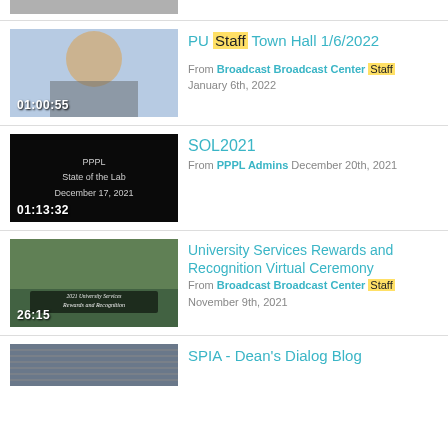[Figure (screenshot): Partial thumbnail of a video at top of page, cropped]
PU Staff Town Hall 1/6/2022
From Broadcast Broadcast Center Staff
January 6th, 2022
[Figure (screenshot): Video thumbnail showing black background with text: PPPL State of the Lab December 17, 2021. Duration: 01:13:32]
SOL2021
From PPPL Admins December 20th, 2021
[Figure (screenshot): Video thumbnail showing aerial view of campus with text 'Rewards and Recognition'. Duration: 26:15]
University Services Rewards and Recognition Virtual Ceremony
From Broadcast Broadcast Center Staff
November 9th, 2021
[Figure (screenshot): Partial video thumbnail at bottom of page showing building exterior]
SPIA - Dean's Dialog Blog